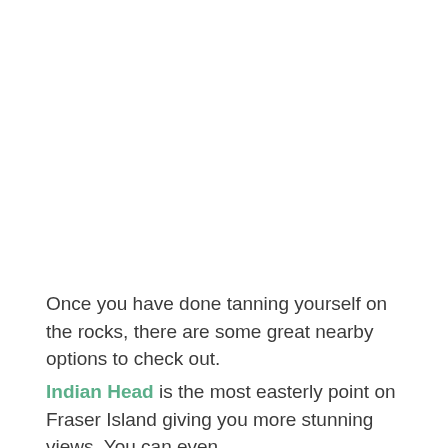Once you have done tanning yourself on the rocks, there are some great nearby options to check out.
Indian Head is the most easterly point on Fraser Island giving you more stunning views. You can even